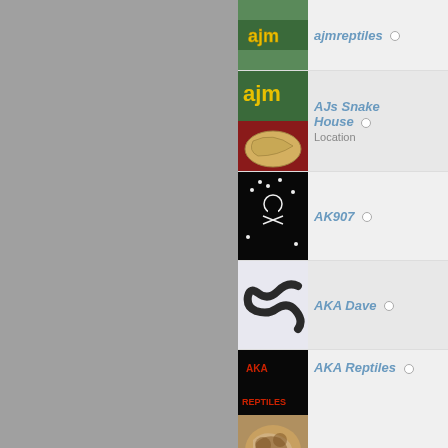ajmreptiles
AJs Snake House
AK907
AKA Dave
AKA Reptiles
akaangela
AkivaSmith
akjadinfkjfdkfadt